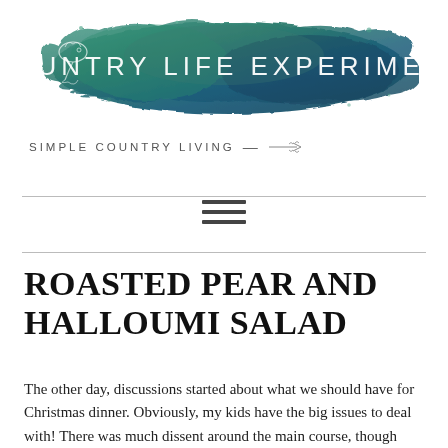[Figure (logo): Country Life Experiment blog logo: watercolor brushstroke in teal and dark green with white text 'COUNTRY LIFE EXPERIMENT' and a small bird illustration. Subtitle reads 'SIMPLE COUNTRY LIVING' with a botanical arrow decoration.]
ROASTED PEAR AND HALLOUMI SALAD
The other day, discussions started about what we should have for Christmas dinner. Obviously, my kids have the big issues to deal with! There was much dissent around the main course, though